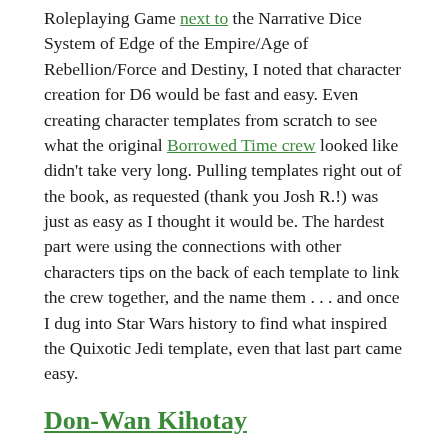Roleplaying Game next to the Narrative Dice System of Edge of the Empire/Age of Rebellion/Force and Destiny, I noted that character creation for D6 would be fast and easy. Even creating character templates from scratch to see what the original Borrowed Time crew looked like didn't take very long. Pulling templates right out of the book, as requested (thank you Josh R.!) was just as easy as I thought it would be. The hardest part were using the connections with other characters tips on the back of each template to link the crew together, and the name them . . . and once I dug into Star Wars history to find what inspired the Quixotic Jedi template, even that last part came easy.
Don-Wan Kihotay
Character Template: Quixotic Jedi